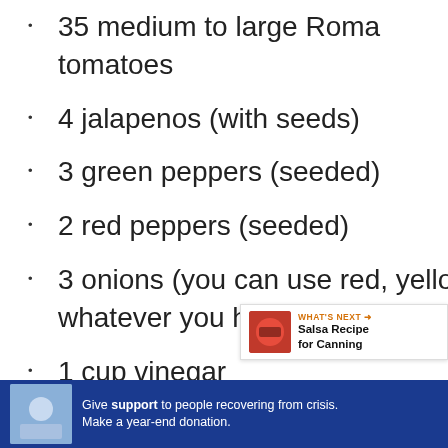35 medium to large Roma tomatoes
4 jalapenos (with seeds)
3 green peppers (seeded)
2 red peppers (seeded)
3 onions (you can use red, yellow, whatever you have)
1 cup vinegar
2 teaspoons cumin powder (optional)
[Figure (other): Social sharing sidebar with heart icon (teal), count 21, and share icon]
[Figure (other): What's Next promotional box: Salsa Recipe for Canning]
[Figure (other): Advertisement banner: Give support to people recovering from crisis. Make a year-end donation.]